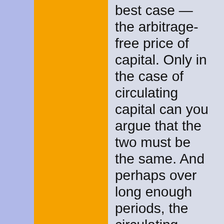best case — the arbitrage-free price of capital. Only in the case of circulating capital can you argue that the two must be the same. And perhaps over long enough periods, the circulating capital approximation starts to hold and they will be the same. But over any reasonable period, it is a happy accident when the philosophical price and